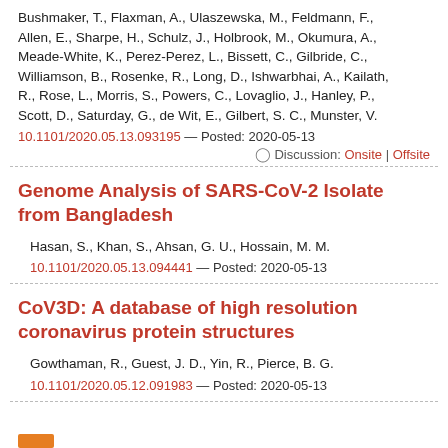Bushmaker, T., Flaxman, A., Ulaszewska, M., Feldmann, F., Allen, E., Sharpe, H., Schulz, J., Holbrook, M., Okumura, A., Meade-White, K., Perez-Perez, L., Bissett, C., Gilbride, C., Williamson, B., Rosenke, R., Long, D., Ishwarbhai, A., Kailath, R., Rose, L., Morris, S., Powers, C., Lovaglio, J., Hanley, P., Scott, D., Saturday, G., de Wit, E., Gilbert, S. C., Munster, V.
10.1101/2020.05.13.093195 — Posted: 2020-05-13
Discussion: Onsite | Offsite
Genome Analysis of SARS-CoV-2 Isolate from Bangladesh
Hasan, S., Khan, S., Ahsan, G. U., Hossain, M. M.
10.1101/2020.05.13.094441 — Posted: 2020-05-13
CoV3D: A database of high resolution coronavirus protein structures
Gowthaman, R., Guest, J. D., Yin, R., Pierce, B. G.
10.1101/2020.05.12.091983 — Posted: 2020-05-13